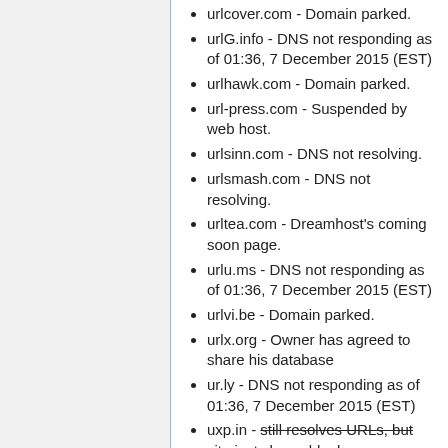urlcover.com - Domain parked.
urlG.info - DNS not responding as of 01:36, 7 December 2015 (EST)
urlhawk.com - Domain parked.
url-press.com - Suspended by web host.
urlsinn.com - DNS not resolving.
urlsmash.com - DNS not resolving.
urltea.com - Dreamhost's coming soon page.
urlu.ms - DNS not responding as of 01:36, 7 December 2015 (EST)
urlvi.be - Domain parked.
urlx.org - Owner has agreed to share his database
ur.ly - DNS not responding as of 01:36, 7 December 2015 (EST)
uxp.in - still resolves URLs, but site just shows blank page. Domain parked.